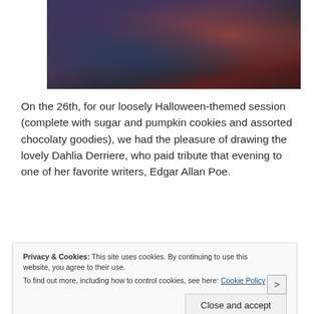[Figure (photo): Halloween-themed photo showing a person in dark costume in a dimly lit room with colorful decorative elements in red and dark tones]
On the 26th, for our loosely Halloween-themed session (complete with sugar and pumpkin cookies and assorted chocolaty goodies), we had the pleasure of drawing the lovely Dahlia Derriere, who paid tribute that evening to one of her favorite writers, Edgar Allan Poe.
[Figure (photo): Bottom portion of another photo, partially obscured by cookie consent banner, dark background]
Privacy & Cookies: This site uses cookies. By continuing to use this website, you agree to their use.
To find out more, including how to control cookies, see here: Cookie Policy
Close and accept